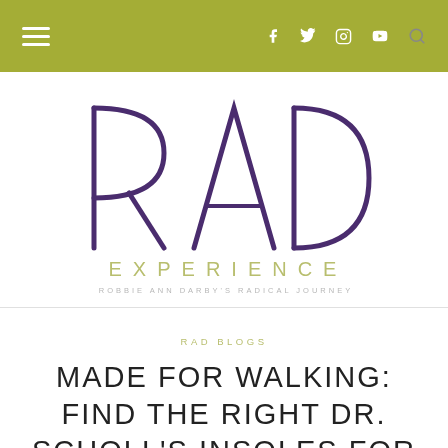Navigation bar with hamburger menu, social icons (Facebook, Twitter, Instagram, YouTube) and search
[Figure (logo): RAD Experience logo — large purple outlined letters R, A, D with 'EXPERIENCE' in olive/yellow and tagline 'ROBBIE ANN DARBY'S RADICAL JOURNEY' in grey]
RAD BLOGS
MADE FOR WALKING: FIND THE RIGHT DR. SCHOLL'S INSOLES FOR